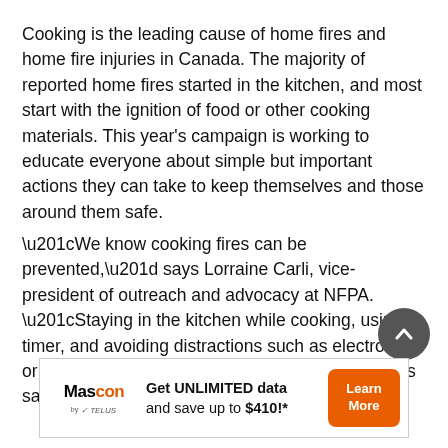Cooking is the leading cause of home fires and home fire injuries in Canada. The majority of reported home fires started in the kitchen, and most start with the ignition of food or other cooking materials. This year's campaign is working to educate everyone about simple but important actions they can take to keep themselves and those around them safe.
“We know cooking fires can be prevented,” says Lorraine Carli, vice-president of outreach and advocacy at NFPA. “Staying in the kitchen while cooking, using a timer, and avoiding distractions such as electronics or TV are steps everyone can take to keep families safe in their homes.”
[Figure (infographic): Advertisement banner for Mascon by TELUS: 'Get UNLIMITED data and save up to $410!*' with a Learn More button]